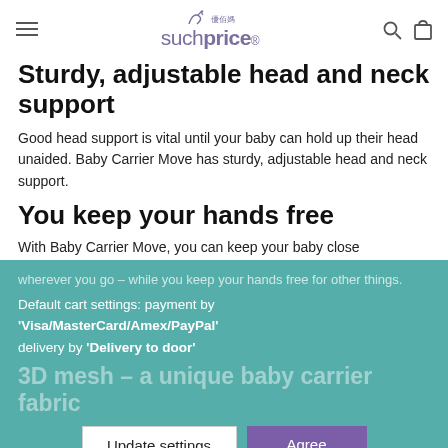suchprice (logo with Chinese characters, search and cart icons)
Sturdy, adjustable head and neck support
Good head support is vital until your baby can hold up their head unaided. Baby Carrier Move has sturdy, adjustable head and neck support.
You keep your hands free
With Baby Carrier Move, you can keep your baby close wherever you go – while you keep your hands free for other things.
Default cart settings: payment by 'Visa/MasterCard/Amex/PayPal' delivery by 'Delivery to door'
3D mesh – a unique baby carrier fabric
Update settings
Agree